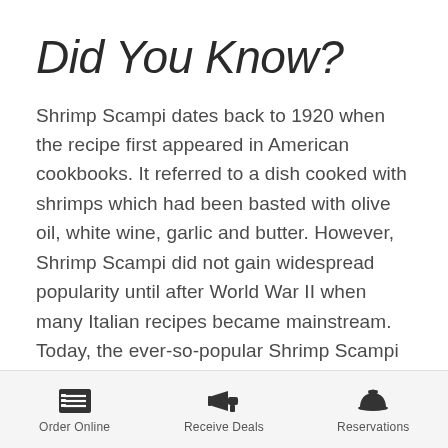Did You Know?
Shrimp Scampi dates back to 1920 when the recipe first appeared in American cookbooks. It referred to a dish cooked with shrimps which had been basted with olive oil, white wine, garlic and butter. However, Shrimp Scampi did not gain widespread popularity until after World War II when many Italian recipes became mainstream. Today, the ever-so-popular Shrimp Scampi continues to get more inventive as it can be served over pasta,
Order Online   Receive Deals   Reservations